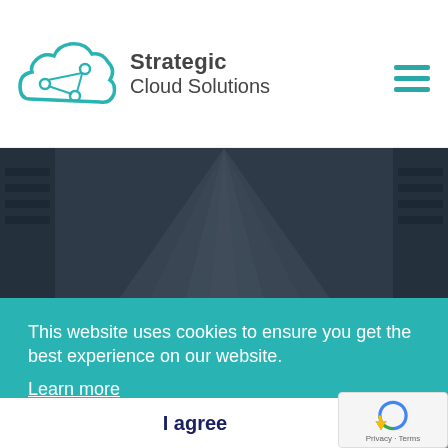[Figure (logo): Strategic Cloud Solutions logo with teal cloud icon and company name]
[Figure (photo): Dark data center corridor with server racks and light rays emanating from center, with a white cloud in the foreground]
This website uses cookies to ensure you get the best experience on our website.
Learn more
I agree